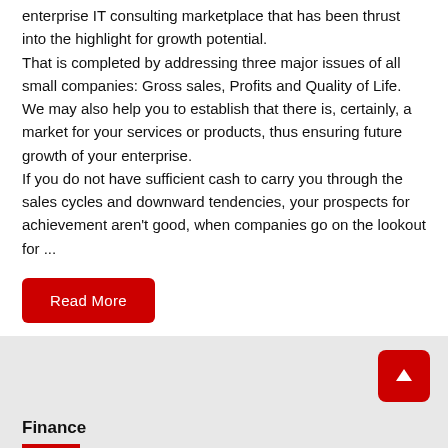enterprise IT consulting marketplace that has been thrust into the highlight for growth potential. That is completed by addressing three major issues of all small companies: Gross sales, Profits and Quality of Life. We may also help you to establish that there is, certainly, a market for your services or products, thus ensuring future growth of your enterprise. If you do not have sufficient cash to carry you through the sales cycles and downward tendencies, your prospects for achievement aren't good, when companies go on the lookout for ...
Read More
Finance